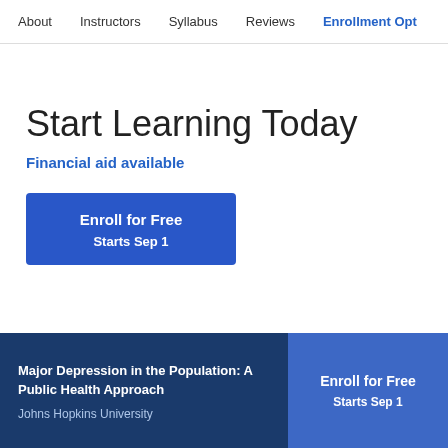About  Instructors  Syllabus  Reviews  Enrollment Opt
Start Learning Today
Financial aid available
Enroll for Free
Starts Sep 1
Major Depression in the Population: A Public Health Approach
Johns Hopkins University
Enroll for Free
Starts Sep 1